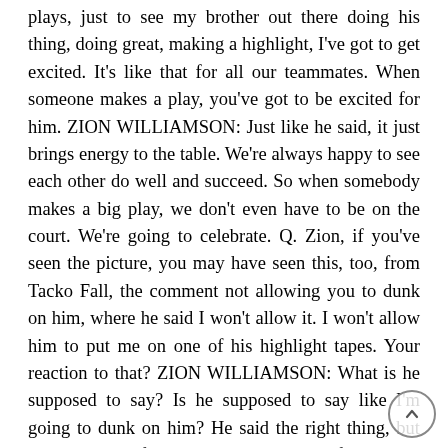plays, just to see my brother out there doing his thing, doing great, making a highlight, I've got to get excited. It's like that for all our teammates. When someone makes a play, you've got to be excited for him. ZION WILLIAMSON: Just like he said, it just brings energy to the table. We're always happy to see each other do well and succeed. So when somebody makes a big play, we don't even have to be on the court. We're going to celebrate. Q. Zion, if you've seen the picture, you may have seen this, too, from Tacko Fall, the comment not allowing you to dunk on him, where he said I won't allow it. I won't allow him to put me on one of his highlight tapes. Your reaction to that? ZION WILLIAMSON: What is he supposed to say? Is he supposed to say like I'm going to dunk on him? He said the right thing, but I'm not really focused on that. I'm just focused on trying to help my team win the game. Q. On that note, regardless of what he said, he is a different kind of player than you've seen all year. What is your impressions, kind of, what it's going to be like playing against someone that tall and the kind of balance between your strength and power and jumping and his just sort of raw height? ZION WILLIAMSON: He is a very unique player, and I got a lot of respect for him because for him to be